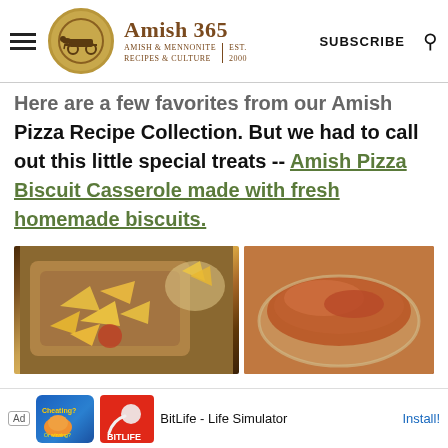Amish 365 — AMISH & MENNONITE RECIPES & CULTURE | EST. 2000 | SUBSCRIBE
Here are a few favorites from our Amish Pizza Recipe Collection. But we had to call out this little special treats -- Amish Pizza Biscuit Casserole made with fresh homemade biscuits.
[Figure (photo): Casserole dish with toppings including chips and tomatoes, viewed from above]
[Figure (photo): Baked casserole in a glass dish with browned tomato sauce top]
[Figure (other): Advertisement banner: BitLife - Life Simulator app ad with Install button]